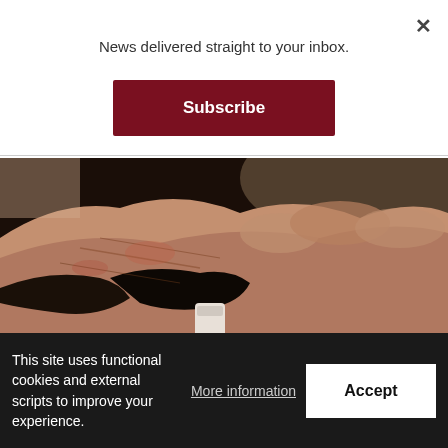News delivered straight to your inbox.
Subscribe
[Figure (photo): Close-up photo of a person's hand with skin showing signs of psoriatic arthritis, holding a small white cup or pill against a dark background.]
Psoriatic Arthritis Indicators - Many May Wish They Had Seen Them Earlier
Psoriatic Arthritis | Search Ads
This site uses functional cookies and external scripts to improve your experience.
More information
Accept